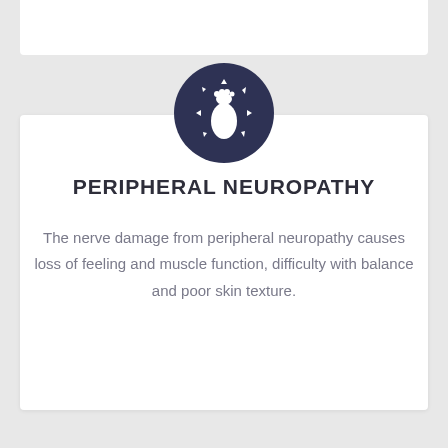[Figure (illustration): Dark navy circle icon containing a white foot/footprint silhouette with small arrow shapes pointing outward in multiple directions, representing peripheral neuropathy]
PERIPHERAL NEUROPATHY
The nerve damage from peripheral neuropathy causes loss of feeling and muscle function, difficulty with balance and poor skin texture.